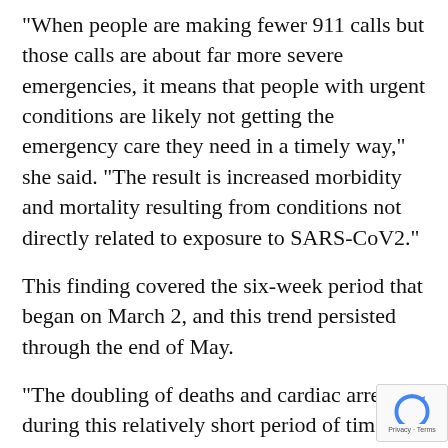"When people are making fewer 911 calls but those calls are about far more severe emergencies, it means that people with urgent conditions are likely not getting the emergency care they need in a timely way," she said. "The result is increased morbidity and mortality resulting from conditions not directly related to exposure to SARS-CoV2."
This finding covered the six-week period that began on March 2, and this trend persisted through the end of May.
"The doubling of deaths and cardiac arrests during this relatively short period of time, from March through May, demonstrates that people who need